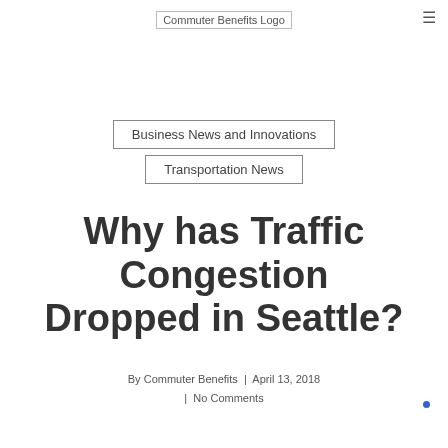[Figure (logo): Commuter Benefits Logo — small image placeholder with alt text 'Commuter Benefits Logo']
Business News and Innovations
Transportation News
Why has Traffic Congestion Dropped in Seattle?
By Commuter Benefits | April 13, 2018 | No Comments